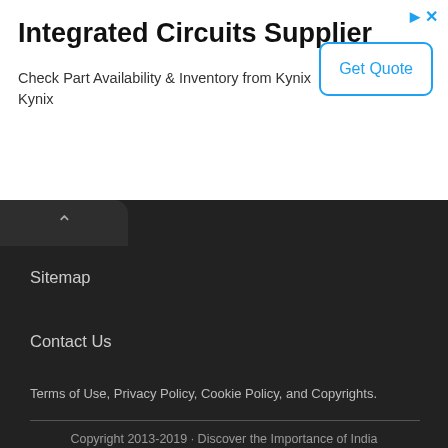[Figure (screenshot): Advertisement banner for Integrated Circuits Supplier - Kynix, with Get Quote button]
Integrated Circuits Supplier
Check Part Availability & Inventory from Kynix
Kynix
Sitemap
Contact Us
Terms of Use, Privacy Policy, Cookie Policy, and Copyrights.
Copyright 2013-2019 · Discover the Importance of India